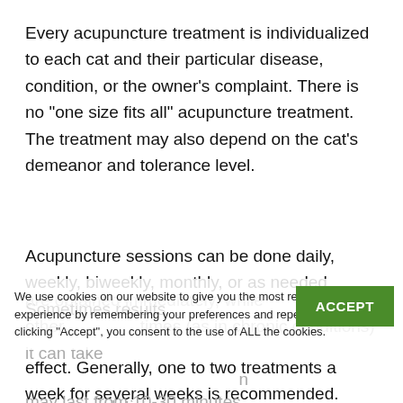Every acupuncture treatment is individualized to each cat and their particular disease, condition, or the owner’s complaint. There is no “one size fits all” acupuncture treatment. The treatment may also depend on the cat’s demeanor and tolerance level.
Acupuncture sessions can be done daily, weekly, biweekly, monthly, or as needed. Sometimes results are obtained immediately, while other times (as in chronic conditions) it can take several treatments before a major effect is noticed. A common recommendation is to allow 3-5 treatments before noticing a major effect. Generally, one to two treatments a week for several weeks is recommended. Each treatment may last from 10-30 minutes.
We use cookies on our website to give you the most relevant experience by remembering your preferences and repeat visits. By clicking “Accept”, you consent to the use of ALL the cookies.